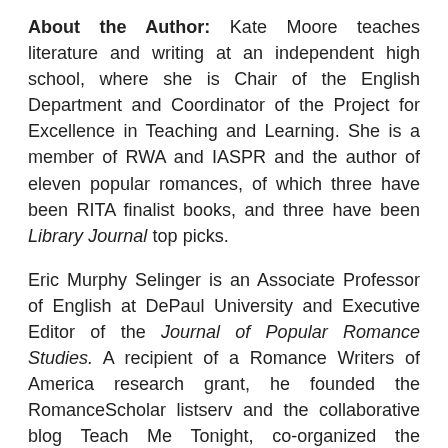About the Author: Kate Moore teaches literature and writing at an independent high school, where she is Chair of the English Department and Coordinator of the Project for Excellence in Teaching and Learning. She is a member of RWA and IASPR and the author of eleven popular romances, of which three have been RITA finalist books, and three have been Library Journal top picks.
Eric Murphy Selinger is an Associate Professor of English at DePaul University and Executive Editor of the Journal of Popular Romance Studies. A recipient of a Romance Writers of America research grant, he founded the RomanceScholar listserv and the collaborative blog Teach Me Tonight, co-organized the Princeton University conference “Love as the Practice of Freedom? Romance Fiction and American Culture” and the first annual IASPR conference on Popular Romance Studies, and co-edited (with Sarah S. G. Frantz) New Approaches to Popular Romance Fiction. Since 2006 he has taught about twenty-five undergraduate and graduate courses on popular